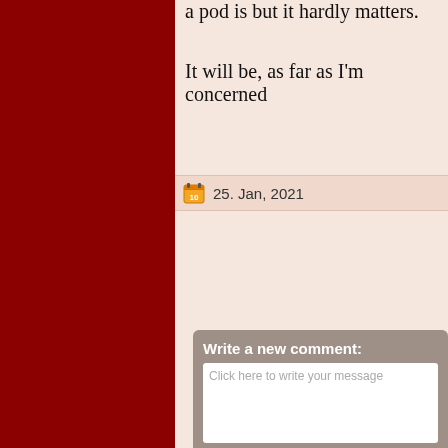a pod is but it hardly matters.
It will be, as far as I'm concerned
25. Jan, 2021
Write a new comment:
Click here to write your message
Share on Facebook
Your name
Yes - I would like to receive an email